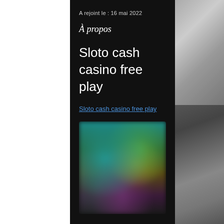A rejoint le : 16 mai 2022
À propos
Sloto cash casino free play
Sloto cash casino free play
[Figure (photo): Blurred colorful image of animated or game characters with teal, green, yellow and purple tones]